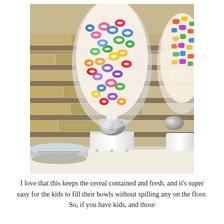[Figure (photo): Two cereal dispensers on a kitchen counter. The main center dispenser is white with a chrome spigot/lever and is filled with colorful fruit loop-style cereal rings. A second dispenser on the right is also filled with colorful cereal. In the background is a stone tile backsplash. On the left foreground, stacked bowls are visible.]
I love that this keeps the cereal contained and fresh, and it's super easy for the kids to fill their bowls without spilling any on the floor. So, if you have kids, and those